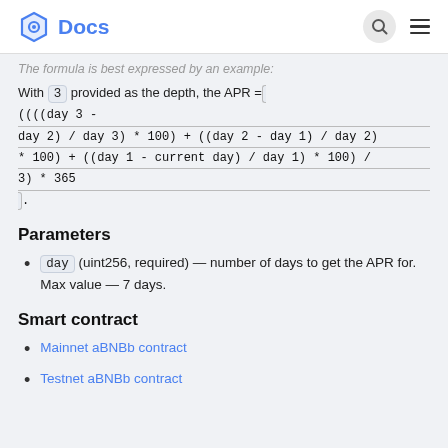Docs
The formula is best expressed by an example:
With 3 provided as the depth, the APR = ((((day 3 - day 2) / day 3) * 100) + ((day 2 - day 1) / day 2) * 100) + ((day 1 - current day) / day 1) * 100) / 3) * 365.
Parameters
day (uint256, required) — number of days to get the APR for. Max value — 7 days.
Smart contract
Mainnet aBNBb contract
Testnet aBNBb contract